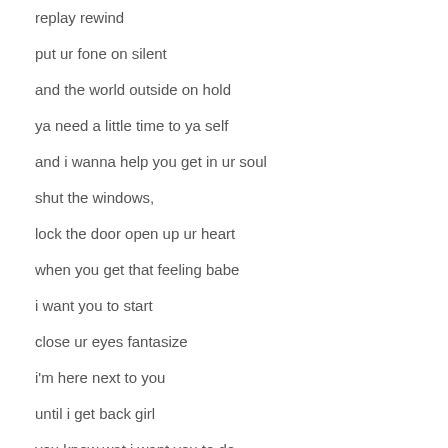replay rewind
put ur fone on silent
and the world outside on hold
ya need a little time to ya self
and i wanna help you get in ur soul
shut the windows,
lock the door open up ur heart
when you get that feeling babe
i want you to start
close ur eyes fantasize
i'm here next to you
until i get back girl
you know wat i want you to do
From My Lips to your Lips